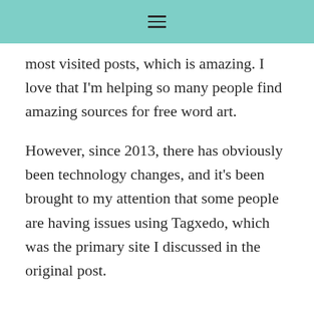≡
most visited posts, which is amazing. I love that I'm helping so many people find amazing sources for free word art.
However, since 2013, there has obviously been technology changes, and it's been brought to my attention that some people are having issues using Tagxedo, which was the primary site I discussed in the original post.